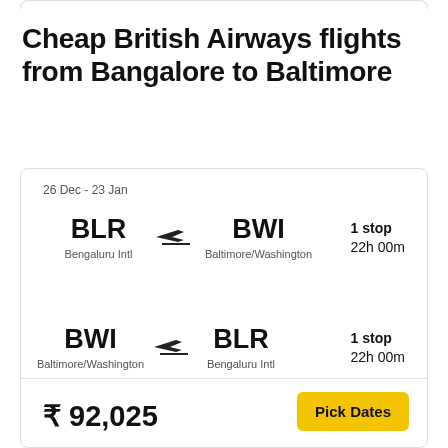Cheap British Airways flights from Bangalore to Baltimore
26 Dec - 23 Jan
BLR  →  BWI
Bengaluru Intl  Baltimore/Washington
1 stop  22h 00m
BWI  →  BLR
Baltimore/Washington  Bengaluru Intl
1 stop  22h 00m
₹ 92,025
Pick Dates